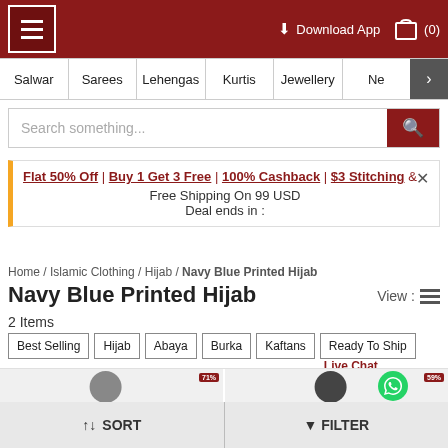≡  ⬇ Download App  🛍 (0)
Salwar | Sarees | Lehengas | Kurtis | Jewellery | Ne >
Search something...
Flat 50% Off | Buy 1 Get 3 Free | 100% Cashback | $3 Stitching & Free Shipping On 99 USD
Deal ends in :
Home / Islamic Clothing / Hijab / Navy Blue Printed Hijab
Navy Blue Printed Hijab
2 Items
Best Selling
Hijab
Abaya
Burka
Kaftans
Ready To Ship
Live Chat
↑↓ SORT    ▼ FILTER